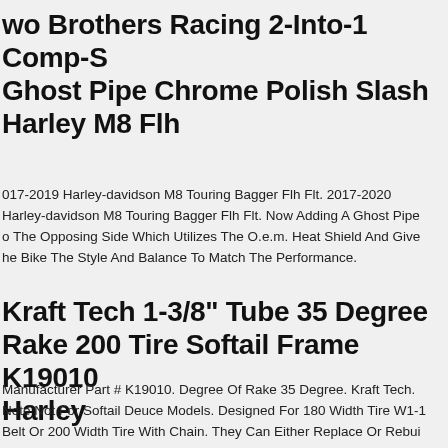Two Brothers Racing 2-Into-1 Comp-S Ghost Pipe Chrome Polish Slash Harley M8 Flh
2017-2019 Harley-davidson M8 Touring Bagger Flh Flt. 2017-2020 Harley-davidson M8 Touring Bagger Flh Flt. Now Adding A Ghost Pipe To The Opposing Side Which Utilizes The O.e.m. Heat Shield And Gives The Bike The Style And Balance To Match The Performance.
Kraft Tech 1-3/8" Tube 35 Degree Rake 200 Tire Softail Frame K19010 Harley
Manufacturer Part # K19010. Degree Of Rake 35 Degree. Kraft Tech. Note Not For Softail Deuce Models. Designed For 180 Width Tire W1-1 Belt Or 200 Width Tire With Chain. They Can Either Replace Or Rebuild The Part.